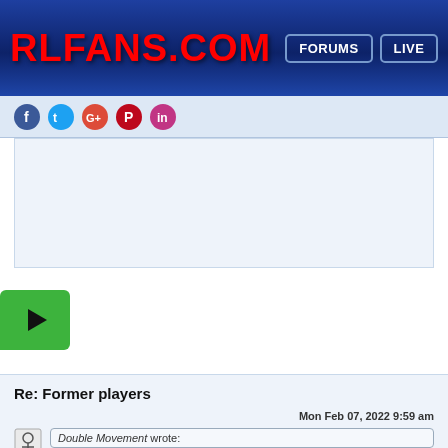RLFANS.COM | FORUMS | LIVE
[Figure (screenshot): Social media icons strip (Facebook, Twitter, Google+, Pinterest, Instagram) on light blue background]
[Figure (other): Advertisement / empty content area with light blue background]
[Figure (other): Green play button video icon]
Re: Former players
Mon Feb 07, 2022 9:59 am
Double Movement wrote: